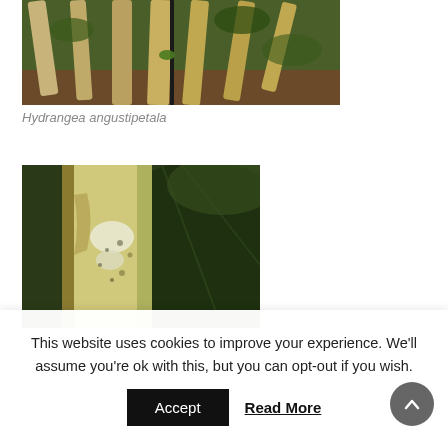[Figure (photo): Photo of Hydrangea angustipetala plant stems with multiple branches, green foliage in background]
Hydrangea angustipetala
[Figure (photo): Close-up photo of a plant stem showing bark texture with green and yellowish coloring and some white patches, with large leaf visible in background]
This website uses cookies to improve your experience. We'll assume you're ok with this, but you can opt-out if you wish.